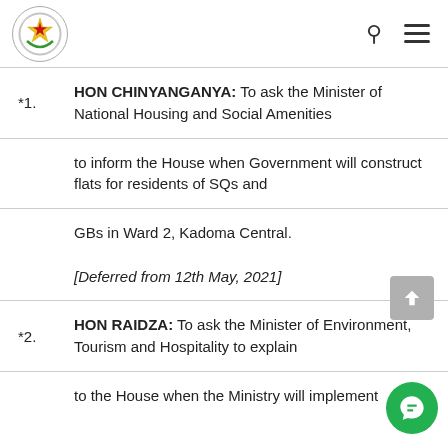Parliament of Zimbabwe
*1. HON CHINYANGANYA: To ask the Minister of National Housing and Social Amenities to inform the House when Government will construct flats for residents of SQs and GBs in Ward 2, Kadoma Central. [Deferred from 12th May, 2021]
*2. HON RAIDZA: To ask the Minister of Environment, Tourism and Hospitality to explain to the House when the Ministry will implement